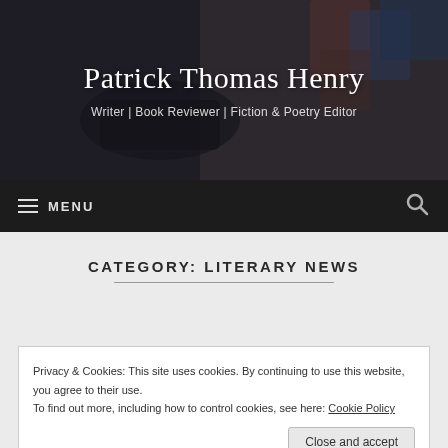Patrick Thomas Henry
Writer | Book Reviewer | Fiction & Poetry Editor
≡ MENU
CATEGORY: LITERARY NEWS
Privacy & Cookies: This site uses cookies. By continuing to use this website, you agree to their use.
To find out more, including how to control cookies, see here: Cookie Policy
Close and accept
Reading in Fargo, & More